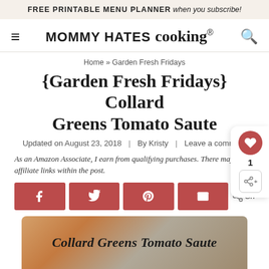FREE PRINTABLE MENU PLANNER when you subscribe!
[Figure (logo): Mommy Hates Cooking logo with hamburger menu and search icon]
Home » Garden Fresh Fridays
{Garden Fresh Fridays} Collard Greens Tomato Saute
Updated on August 23, 2018  |  By Kristy  |  Leave a comment
As an Amazon Associate, I earn from qualifying purchases. There may be affiliate links within the post.
[Figure (infographic): Social share buttons: Facebook, Twitter, Pinterest, Email, and share icon with count of 1]
[Figure (photo): Collard Greens Tomato Saute recipe image with script text overlay reading 'Collard Greens Tomato Saute']